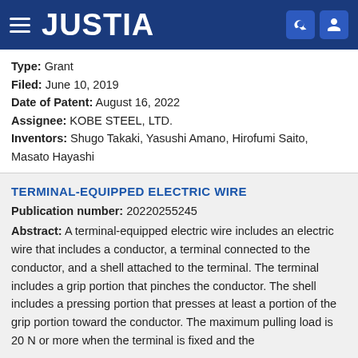JUSTIA
Type: Grant
Filed: June 10, 2019
Date of Patent: August 16, 2022
Assignee: KOBE STEEL, LTD.
Inventors: Shugo Takaki, Yasushi Amano, Hirofumi Saito, Masato Hayashi
TERMINAL-EQUIPPED ELECTRIC WIRE
Publication number: 20220255245
Abstract: A terminal-equipped electric wire includes an electric wire that includes a conductor, a terminal connected to the conductor, and a shell attached to the terminal. The terminal includes a grip portion that pinches the conductor. The shell includes a pressing portion that presses at least a portion of the grip portion toward the conductor. The maximum pulling load is 20 N or more when the terminal is fixed and the